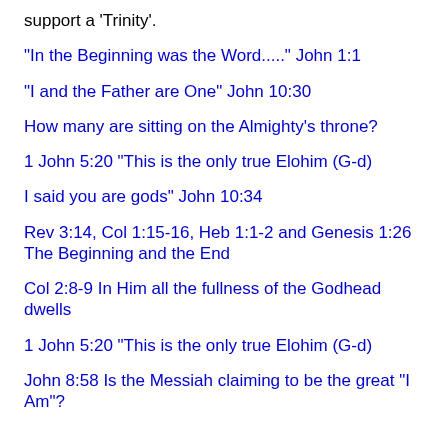support a 'Trinity'.
"In the Beginning was the Word....." John 1:1
"I and the Father are One" John 10:30
How many are sitting on the Almighty's throne?
1 John 5:20 "This is the only true Elohim (G-d)
I said you are gods" John 10:34
Rev 3:14, Col 1:15-16, Heb 1:1-2 and Genesis 1:26 The Beginning and the End
Col 2:8-9 In Him all the fullness of the Godhead dwells
1 John 5:20 "This is the only true Elohim (G-d)
John 8:58 Is the Messiah claiming to be the great "I Am"?